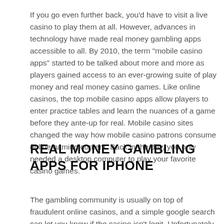If you go even further back, you'd have to visit a live casino to play them at all. However, advances in technology have made real money gambling apps accessible to all. By 2010, the term "mobile casino apps" started to be talked about more and more as players gained access to an ever-growing suite of play money and real money casino games. Like online casinos, the top mobile casino apps allow players to enter practice tables and learn the nuances of a game before they ante-up for real. Mobile casino sites changed the way how mobile casino patrons consume online gaming content. Back in the day, you only needed a desktop computer to play your favorite casino games.
REAL MONEY GAMBLING APPS FOR IPHONE
The gambling community is usually on top of fraudulent online casinos, and a simple google search can let you know if the casino isn't legit. Unfortunately, US players have a narrower